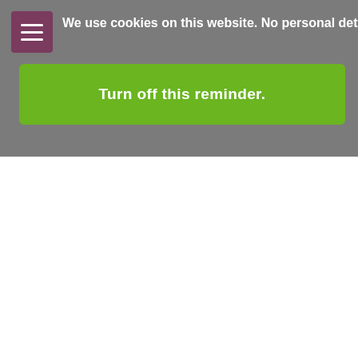We use cookies on this website. No personal details are stored.
Turn off this reminder.